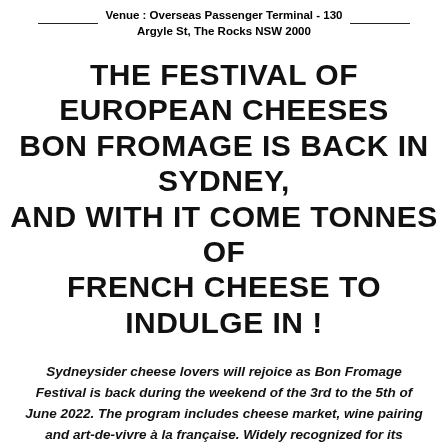Venue : Overseas Passenger Terminal - 130 Argyle St, The Rocks NSW 2000
THE FESTIVAL OF EUROPEAN CHEESES BON FROMAGE IS BACK IN SYDNEY, AND WITH IT COME TONNES OF FRENCH CHEESE TO INDULGE IN !
Sydneysider cheese lovers will rejoice as Bon Fromage Festival is back during the weekend of the 3rd to the 5th of June 2022. The program includes cheese market, wine pairing and art-de-vivre à la française. Widely recognized for its production of quality cheeses in the world for generations, French cheeses will be in the spotlight for a weekend. Follow the smell !